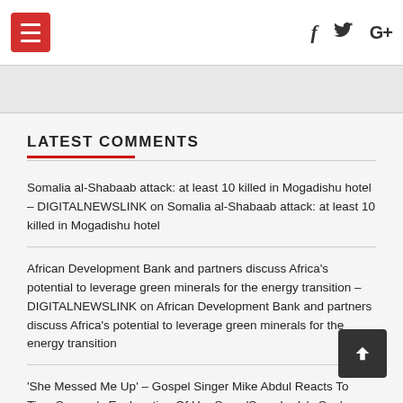Navigation bar with hamburger menu and social icons (f, bird/twitter, G+)
LATEST COMMENTS
Somalia al-Shabaab attack: at least 10 killed in Mogadishu hotel – DIGITALNEWSLINK on Somalia al-Shabaab attack: at least 10 killed in Mogadishu hotel
African Development Bank and partners discuss Africa’s potential to leverage green minerals for the energy transition – DIGITALNEWSLINK on African Development Bank and partners discuss Africa’s potential to leverage green minerals for the energy transition
‘She Messed Me Up’ – Gospel Singer Mike Abdul Reacts To Tiwa Savage’s Explanation Of Her Song ‘Somebody’s Son’ – DIGITALNEWSLINK on ‘She Messed Me Up’ – Gospel Singer Mike Abdul Reacts To Tiwa Savage’s Explanation Of